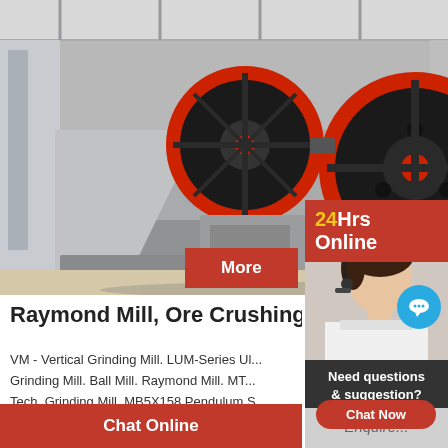[Figure (photo): Industrial jaw crusher / grinding mill machinery with large black and red flywheel pulleys in a factory setting]
More
Online C...
24Hrs Online
[Figure (photo): Customer service representative wearing headset, with chat bubble icon overlay]
Need questions & suggestion?
Chat Now
Raymond Mill, Ore Crushing Machi...
VM - Vertical Grinding Mill. LUM-Series Ul... Grinding Mill. Ball Mill. Raymond Mill. MT... Tech. Grinding Mill. MB5X158 Pendulum S...
Chat Online
Enquire...